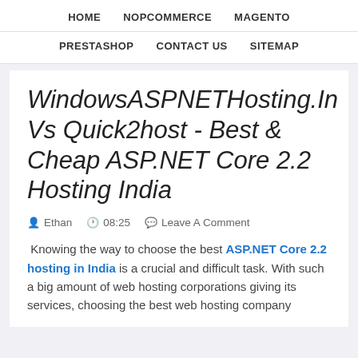HOME   NOPCOMMERCE   MAGENTO   PRESTASHOP   CONTACT US   SITEMAP
WindowsASPNETHosting.In Vs Quick2host - Best & Cheap ASP.NET Core 2.2 Hosting India
Ethan   08:25   Leave A Comment
Knowing the way to choose the best ASP.NET Core 2.2 hosting in India is a crucial and difficult task. With such a big amount of web hosting corporations giving its services, choosing the best web hosting company